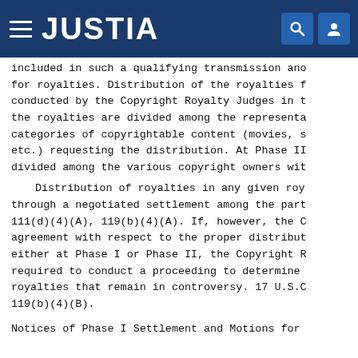JUSTIA
included in such a qualifying transmission and for royalties. Distribution of the royalties f conducted by the Copyright Royalty Judges in t the royalties are divided among the representa categories of copyrightable content (movies, s etc.) requesting the distribution. At Phase II divided among the various copyright owners wit
Distribution of royalties in any given roy through a negotiated settlement among the part 111(d)(4)(A), 119(b)(4)(A). If, however, the C agreement with respect to the proper distribut either at Phase I or Phase II, the Copyright R required to conduct a proceeding to determine royalties that remain in controversy. 17 U.S.C 119(b)(4)(B).
Notices of Phase I Settlement and Motions for